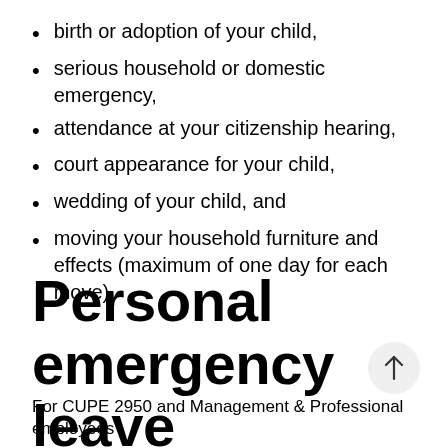birth or adoption of your child,
serious household or domestic emergency,
attendance at your citizenship hearing,
court appearance for your child,
wedding of your child, and
moving your household furniture and effects (maximum of one day for each move).
Personal emergency leave
For CUPE 2950 and Management & Professional employees